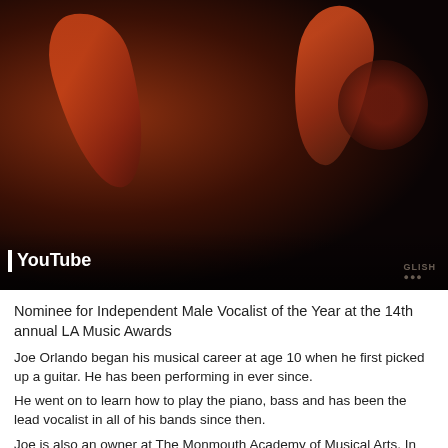[Figure (photo): Concert photo showing musicians on stage with guitars, dark background with red/orange stage lighting, drums visible in background. YouTube watermark visible in lower left.]
Nominee for Independent Male Vocalist of the Year at the 14th annual LA Music Awards
Joe Orlando began his musical career at age 10 when he first picked up a guitar. He has been performing in ever since.
He went on to learn how to play the piano, bass and has been the lead vocalist in all of his bands since then.
Joe is also an owner at The Monmouth Academy of Musical Arts. In addition to his administrative and teaching duties, he is a full-time working musician, having performed and continues to perform and tour with such legends as: Denny Laine from Paul McCartney's Wings and The Moody Blues, Laurence Juber, one of the world's foremost fingerstylists and also from